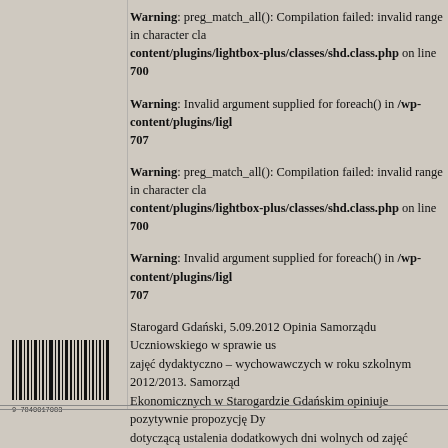Warning: preg_match_all(): Compilation failed: invalid range in character cla... content/plugins/lightbox-plus/classes/shd.class.php on line 700
Warning: Invalid argument supplied for foreach() in /wp-content/plugins/ligh... 707
Warning: preg_match_all(): Compilation failed: invalid range in character cla... content/plugins/lightbox-plus/classes/shd.class.php on line 700
Warning: Invalid argument supplied for foreach() in /wp-content/plugins/ligh... 707
Starogard Gdański, 5.09.2012 Opinia Samorządu Uczniowskiego w sprawie us... zajęć dydaktyczno – wychowawczych w roku szkolnym 2012/2013. Samorząd... Ekonomicznych w Starogardzie Gdańskim opiniuje pozytywnie propozycję Dy... dotyczącą ustalenia dodatkowych dni wolnych od zajęć dydaktyczno – wycho... tj. 2 listopada […]
[Figure (other): Barcode on left side of page]